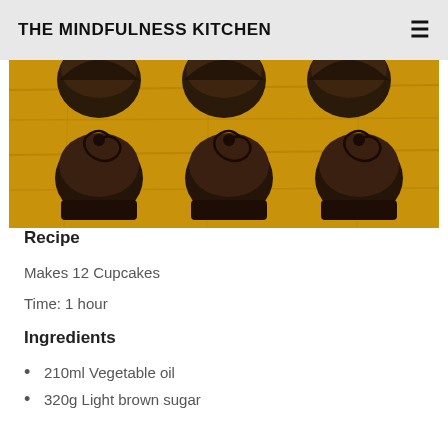THE MINDFULNESS KITCHEN
[Figure (photo): Overhead view of chocolate cupcakes in dark fluted wrappers arranged on a wooden surface, seen from above]
Recipe
Makes 12 Cupcakes
Time: 1 hour
Ingredients
210ml Vegetable oil
320g Light brown sugar